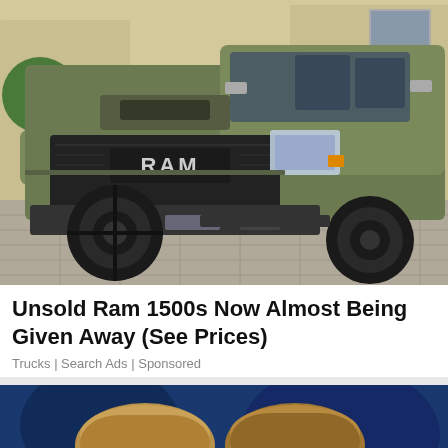[Figure (photo): A matte olive green RAM 1500 pickup truck photographed from the front-left angle, parked on a paved driveway with a large potted tree in background. The truck has oversized off-road tires and a black grille with RAM badging.]
Unsold Ram 1500s Now Almost Being Given Away (See Prices)
Trucks | Search Ads | Sponsored
[Figure (photo): Partial view of two people with light brown hair against a dark blue background, cropped at the top of the page.]